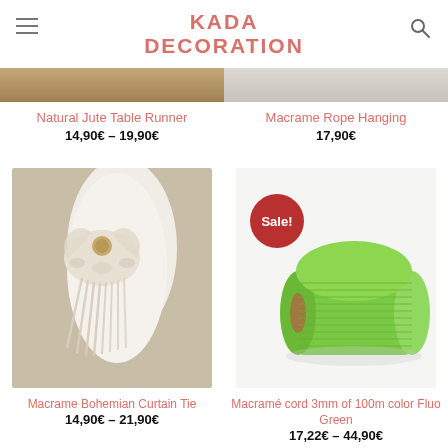KADA DECORATION
Natural Jute Table Runner
14,90€ – 19,90€
Macrame Rope Hanging
17,90€
[Figure (photo): Photo of macrame bohemian curtain tie in cream/white with wooden button]
Macrame Bohemian Curtain Tie
14,90€ – 21,90€
[Figure (photo): Photo of green macramé cord roll 3mm 100m Fluo Green with red Sale badge]
Macramé cord 3mm of 100m color Fluo Green
17,22€ – 44,90€